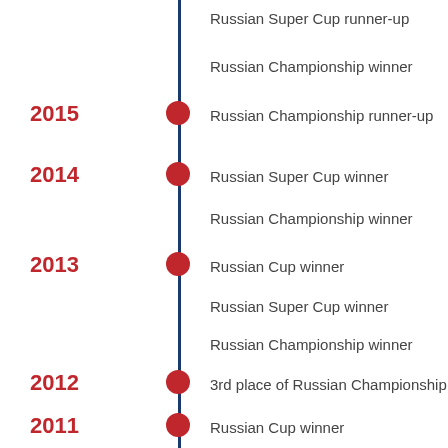[Figure (infographic): Vertical timeline of Russian football club achievements from 2011 to 2015, with years marked in red on the left, a blue vertical line in the center with red dot markers, and achievement text on the right.]
Russian Super Cup runner-up
Russian Championship winner
2015 – Russian Championship runner-up
2014 – Russian Super Cup winner
Russian Championship winner
2013 – Russian Cup winner
Russian Super Cup winner
Russian Championship winner
2012 – 3rd place of Russian Championship
2011 – Russian Cup winner